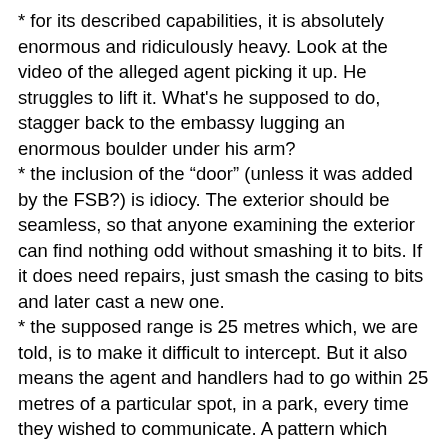* for its described capabilities, it is absolutely enormous and ridiculously heavy. Look at the video of the alleged agent picking it up. He struggles to lift it. What's he supposed to do, stagger back to the embassy lugging an enormous boulder under his arm?
* the inclusion of the “door” (unless it was added by the FSB?) is idiocy. The exterior should be seamless, so that anyone examining the exterior can find nothing odd without smashing it to bits. If it does need repairs, just smash the casing to bits and later cast a new one.
* the supposed range is 25 metres which, we are told, is to make it difficult to intercept. But it also means the agent and handlers had to go within 25 metres of a particular spot, in a park, every time they wished to communicate. A pattern which was, in fact, spotted and led to their downfall. It should either have enough range to give a bit more flexibility in use, or there should be multiple sites active at once, or the sites should be mobile.
* Disguising it as a rock basically forces them to leave it in an open area — thus making it harder for the agent to approach it unnoticed, and also maximising the interception range.
* If they were in fact a lot smaller, perhaps cheaper, and had